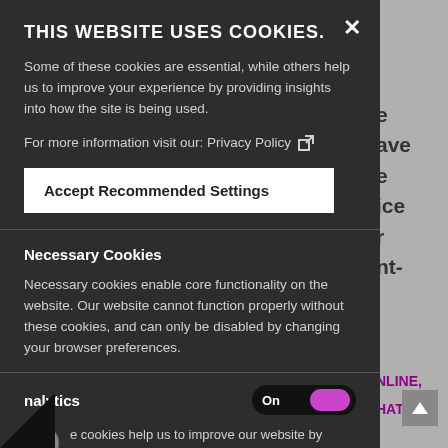THIS WEBSITE USES COOKIES.
Some of these cookies are essential, while others help us to improve your experience by providing insights into how the site is being used.
For more information visit our: Privacy Policy
Accept Recommended Settings
Necessary Cookies
Necessary cookies enable core functionality on the website. Our website cannot function properly without these cookies, and can only be disabled by changing your browser preferences.
Analytics
On
... cookies help us to improve our website by collecting ...ng information on how the website is used.